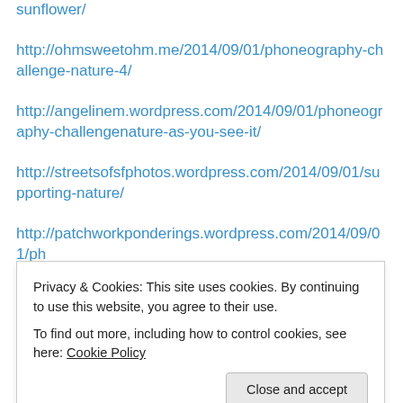sunflower/
http://ohmsweetohm.me/2014/09/01/phoneography-challenge-nature-4/
http://angelinem.wordpress.com/2014/09/01/phoneography-challengenature-as-you-see-it/
http://streetsofsfphotos.wordpress.com/2014/09/01/supporting-nature/
http://patchworkponderings.wordpress.com/2014/09/01/phoneography-nature-lookout-at-rock-point/
Privacy & Cookies: This site uses cookies. By continuing to use this website, you agree to their use.
To find out more, including how to control cookies, see here: Cookie Policy
d-sea-and-the-clouds/